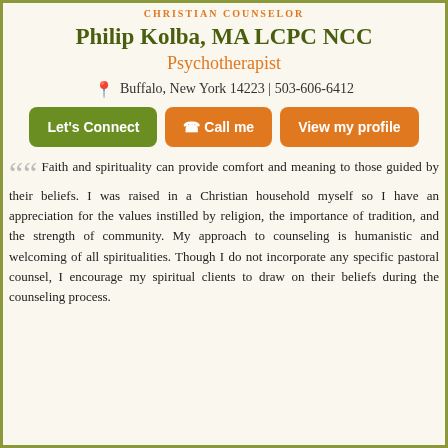CHRISTIAN COUNSELOR
Philip Kolba, MA LCPC NCC
Psychotherapist
Buffalo, New York 14223 | 503-606-6412
Let's Connect
Call me
View my profile
Faith and spirituality can provide comfort and meaning to those guided by their beliefs. I was raised in a Christian household myself so I have an appreciation for the values instilled by religion, the importance of tradition, and the strength of community. My approach to counseling is humanistic and welcoming of all spiritualities. Though I do not incorporate any specific pastoral counsel, I encourage my spiritual clients to draw on their beliefs during the counseling process.